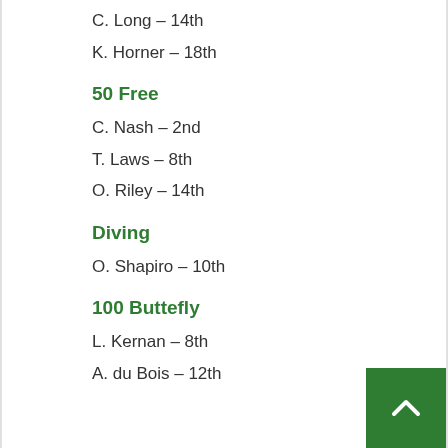C. Long – 14th
K. Horner – 18th
50 Free
C. Nash – 2nd
T. Laws – 8th
O. Riley – 14th
Diving
O. Shapiro – 10th
100 Buttefly
L. Kernan – 8th
A. du Bois – 12th